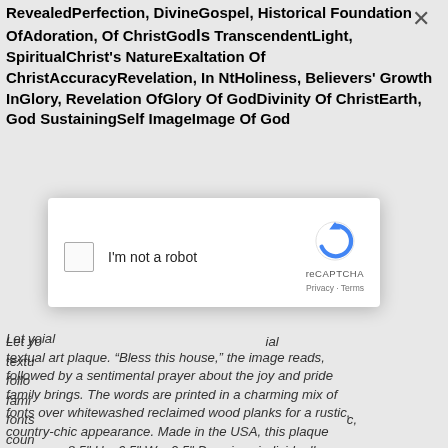RevealedPerfection, DivineGospel, Historical Foundation OfAdoration, Of ChristGodIs TranscendentLight, SpiritualChrist's NatureExaltation Of ChristAccuracyRevelation, In NtHoliness, Believers' Growth InGlory, Revelation OfGlory Of GodDivinity Of ChristEarth, God SustainingSelf ImageImage Of God
[Figure (other): reCAPTCHA modal dialog with checkbox 'I'm not a robot', reCAPTCHA logo, and Privacy - Terms links. An X close button is visible in the top right area.]
Let your imagination run wild with this charming inspirational textual art plaque. "Bless this house," the image reads, followed by a sentimental prayer about the joy and pride family brings. The words are printed in a charming mix of fonts over whitewashed reclaimed wood planks for a rustic, country-chic appearance. Made in the USA, this plaque measures 8.5" H x 6.5" W x 0.5" D, arrives individually boxed, unframed, and ready to hang with a keyhole cutout and wall mounting hardware included. Scripture Images Scripture Wall Art also has the freshest and most sought-after designs out there. Many companies try to illegally copy our designs. We always catch them and require them to stop. Sometimes they even say they are selling our